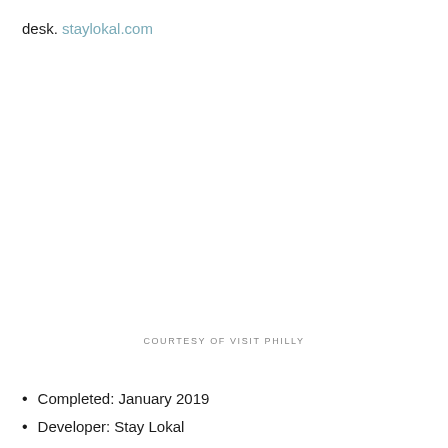desk. staylokal.com
COURTESY OF VISIT PHILLY
Completed: January 2019
Developer: Stay Lokal